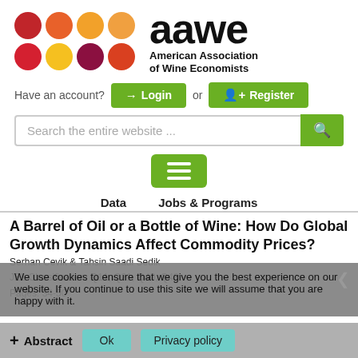[Figure (logo): AAWE logo with colored dots grid and text 'aawe American Association of Wine Economists']
Have an account?  Login  or  Register
Search the entire website ...
[Figure (screenshot): Hamburger menu button (green with three white lines)]
Data    Jobs & Programs
A Barrel of Oil or a Bottle of Wine: How Do Global Growth Dynamics Affect Commodity Prices?
Serhan Cevik & Tahsin Saadi Sedik
JEL Classification: Q11, Q31, Q40, Q43
Pages: 34-50
We use cookies to ensure that we give you the best experience on our website. If you continue to use this site we will assume that you are happy with it.
+ Abstract    Ok    Privacy policy